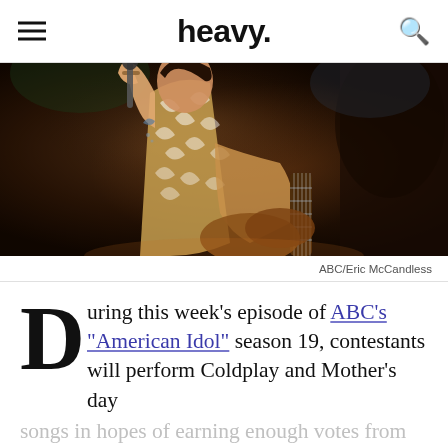heavy.
[Figure (photo): A male performer in a leaf-patterned shirt singing into a microphone while playing guitar on a dimly lit stage]
ABC/Eric McCandless
During this week's episode of ABC's "American Idol" season 19, contestants will perform Coldplay and Mother's day songs in hopes of earning enough votes from viewers in order to move on to the top five of the